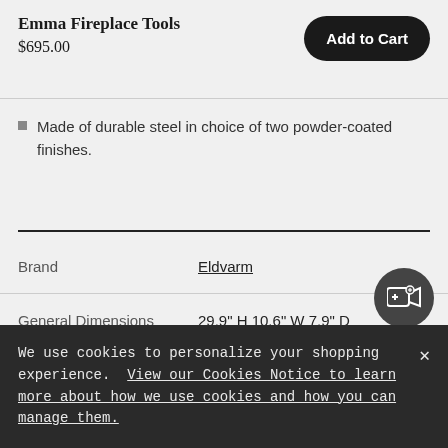Emma Fireplace Tools
$695.00
Add to Cart
Made of durable steel in choice of two powder-coated finishes.
|  |  |
| --- | --- |
| Brand | Eldvarm |
| General Dimensions | 29.9" H 10.6" W 7.9" D |
| Product Weight | 13.4 lbs |
[Figure (other): Video camera icon button (circular dark button with camera and plus icon)]
We use cookies to personalize your shopping experience. View our Cookies Notice to learn more about how we use cookies and how you can manage them.